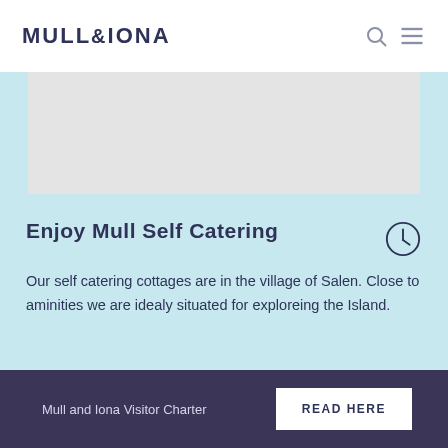MULL&IONA
[Figure (photo): Placeholder image area, light gray background]
Enjoy Mull Self Catering
Our self catering cottages are in the village of Salen. Close to aminities we are idealy situated for exploreing the Island.
Mull and Iona Visitor Charter  READ HERE